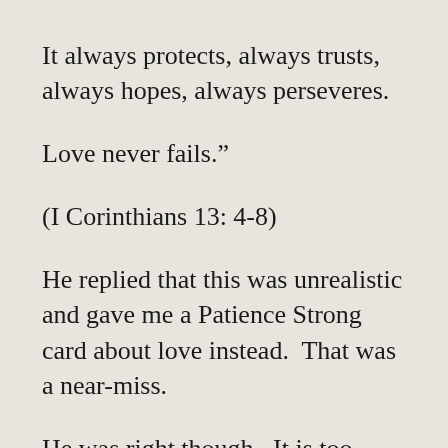It always protects, always trusts, always hopes, always perseveres.
Love never fails.”
(I Corinthians 13: 4-8)
He replied that this was unrealistic and gave me a Patience Strong card about love instead.  That was a near-miss.
He was right though.  It is too much to live up to but it is also what real love is.  It is